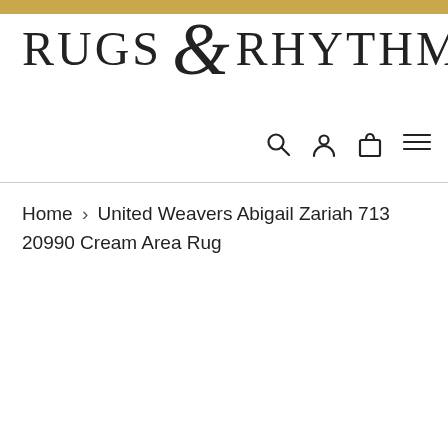[Figure (logo): Rugs & Rhythms logo with large ampersand in italic script]
[Figure (infographic): Navigation icons: search magnifier, user/account person, shopping bag/cart, hamburger menu]
Home › United Weavers Abigail Zariah 713 20990 Cream Area Rug